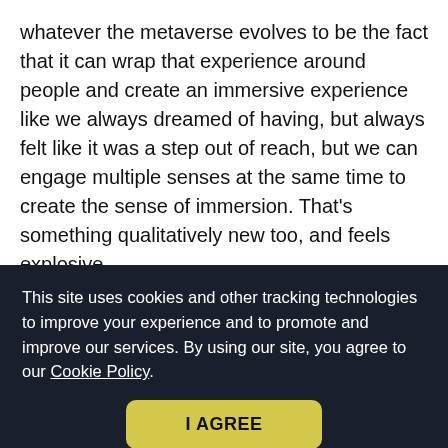whatever the metaverse evolves to be the fact that it can wrap that experience around people and create an immersive experience like we always dreamed of having, but always felt like it was a step out of reach, but we can engage multiple senses at the same time to create the sense of immersion. That's something qualitatively new too, and feels explosive.
Glenn Entis:
And then the third, and in some ways most explosive thing, somewhat related to this but
This site uses cookies and other tracking technologies to improve your experience and to promote and improve our services. By using our site, you agree to our Cookie Policy.
I AGREE